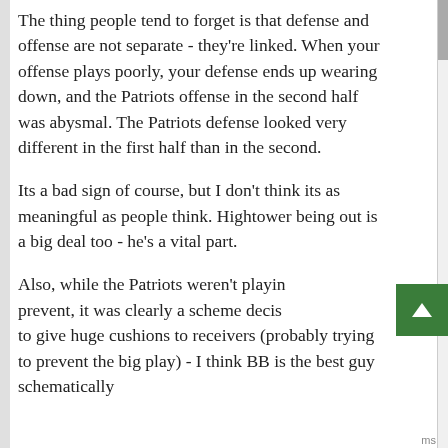The thing people tend to forget is that defense and offense are not separate - they're linked. When your offense plays poorly, your defense ends up wearing down, and the Patriots offense in the second half was abysmal. The Patriots defense looked very different in the first half than in the second.
Its a bad sign of course, but I don't think its as meaningful as people think. Hightower being out is a big deal too - he's a vital part.
Also, while the Patriots weren't playing prevent, it was clearly a scheme decision to give huge cushions to receivers (probably trying to prevent the big play) - I think BB is the best guy schematically in the NFL, but this isn't the first time ll...